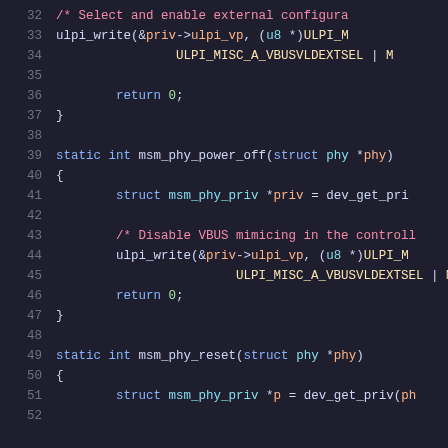[Figure (screenshot): Source code listing in a dark-themed code editor showing C kernel code for MSM PHY driver functions, lines 32-52. Functions include msm_phy_power_off and msm_phy_reset with ULPI write calls and VBUS configuration.]